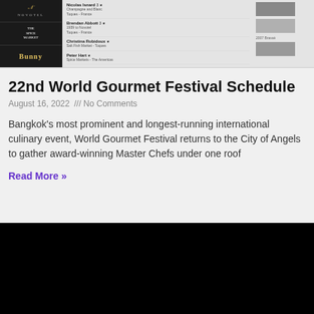[Figure (screenshot): Top portion of a webpage showing a festival schedule table with restaurant logos on the left, chef names and descriptions in the middle columns, and chef photos on the right.]
22nd World Gourmet Festival Schedule
August 16, 2022 /// No Comments
Bangkok's most prominent and longest-running international culinary event, World Gourmet Festival returns to the City of Angels to gather award-winning Master Chefs under one roof
Read More »
[Figure (photo): A dark/black image section at the bottom of the page, likely a video thumbnail or dark image.]